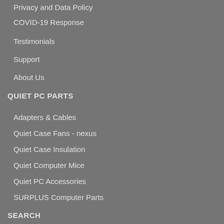Privacy and Data Policy
COVID-19 Response
Testimonials
Support
About Us
QUIET PC PARTS
Adapters & Cables
Quiet Case Fans - nexus
Quiet Case Insulation
Quiet Computer Mice
Quiet PC Accessories
SURPLUS Computer Parts
SEARCH
Search